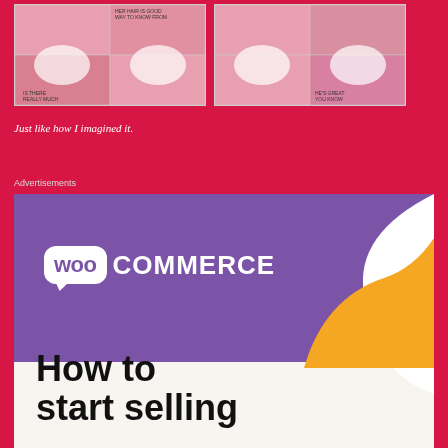[Figure (illustration): Two comic strip thumbnail images side by side showing cartoon characters in speech bubble panels, on a red background]
Just like how I imagined it.
Advertisements
[Figure (illustration): WooCommerce advertisement banner showing the WooCommerce logo on a purple background with white curve and orange shape, with text 'How to start selling']